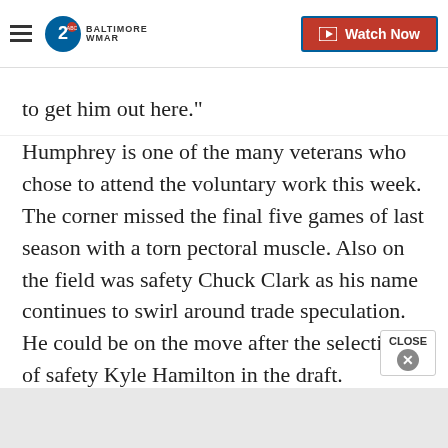ABC 2 Baltimore WMAR | Watch Now
to get him out here."
Humphrey is one of the many veterans who chose to attend the voluntary work this week. The corner missed the final five games of last season with a torn pectoral muscle. Also on the field was safety Chuck Clark as his name continues to swirl around trade speculation. He could be on the move after the selection of safety Kyle Hamilton in the draft.
Odafe Oweh was on the field as well. He had shoulder surgery in January. The second year outside lineba